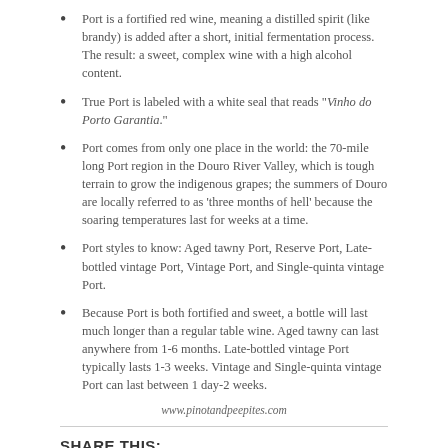Port is a fortified red wine, meaning a distilled spirit (like brandy) is added after a short, initial fermentation process. The result: a sweet, complex wine with a high alcohol content.
True Port is labeled with a white seal that reads "Vinho do Porto Garantia."
Port comes from only one place in the world: the 70-mile long Port region in the Douro River Valley, which is tough terrain to grow the indigenous grapes; the summers of Douro are locally referred to as 'three months of hell' because the soaring temperatures last for weeks at a time.
Port styles to know: Aged tawny Port, Reserve Port, Late-bottled vintage Port, Vintage Port, and Single-quinta vintage Port.
Because Port is both fortified and sweet, a bottle will last much longer than a regular table wine. Aged tawny can last anywhere from 1-6 months. Late-bottled vintage Port typically lasts 1-3 weeks. Vintage and Single-quinta vintage Port can last between 1 day-2 weeks.
www.pinotandpeepites.com
SHARE THIS:
Twitter  Facebook
Like  4 bloggers like this.